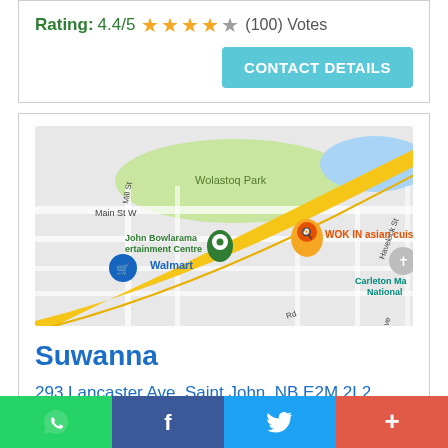Rating: 4.4/5 ★★★★☆ (100) Votes
CONTACT DETAILS
[Figure (map): Google Maps showing Suwanna restaurant location at 293 Lancaster Ave, Saint John, NB, with nearby landmarks including Wolastoq Park, John Bowlarama Entertainment Centre, Walmart, and Carleton Ma National. WOK IN asian cuisine and a church icon visible.]
Suwanna
293 Lancaster Ave, Saint John, NB E2M 2L2, Canada